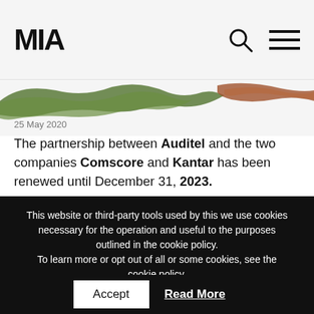MIA
[Figure (illustration): Decorative torn-paper style image strip with green and brown textures]
25 May 2020
The partnership between Auditel and the two companies Comscore and Kantar has been renewed until December 31, 2023.
This website or third-party tools used by this we use cookies necessary for the operation and useful to the purposes outlined in the cookie policy.
To learn more or opt out of all or some cookies, see the cookie policy.

By closing this banner you consent to the use of cookies.
Accept   Read More